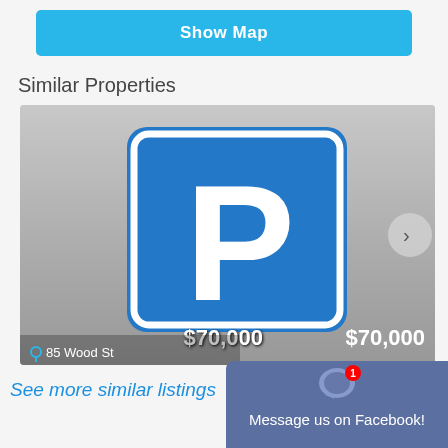Show Map
Similar Properties
[Figure (photo): Parking sign image showing a blue square sign with a white P letter, price $70,000 displayed, address 85 Wood St shown at bottom left with a navigation pin icon, and a right arrow navigation button]
See more similar listings
[Figure (screenshot): Facebook messenger chat widget with notification badge showing 1 and text 'Message us on Facebook!']